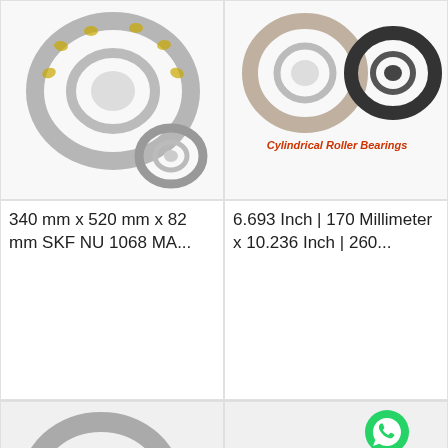[Figure (photo): Cylindrical roller bearing photo top-left, silver metal bearing components]
[Figure (photo): Cylindrical roller bearings top-right, two bearings side by side on white background with red 'Cylindrical Roller Bearings' label]
340 mm x 520 mm x 82 mm SKF NU 1068 MA...
6.693 Inch | 170 Millimeter x 10.236 Inch | 260...
[Figure (photo): Multiple cylindrical roller bearings arranged together, bottom-left, with red 'Cylindrical Roller Bearings' label]
[Figure (photo): Cylindrical roller bearing bottom-right with WhatsApp Online badge and green WhatsApp icon, red 'Cylindrical Roller Bearings' label]
All Products
Contact Now